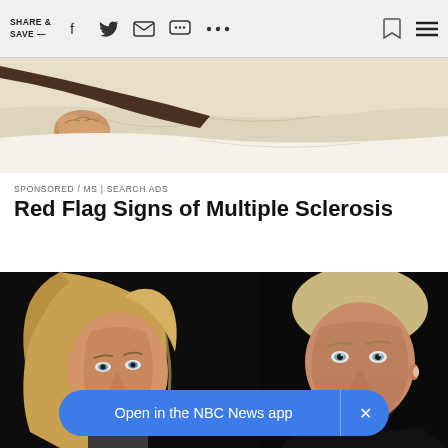SHARE & SAVE —
[Figure (illustration): Illustrated image showing a person lying on a surface, with a clenched fist visible, wearing a dark brown sleeve, against a light background.]
SPONSORED / MS | SEARCH ADS
Red Flag Signs of Multiple Sclerosis
[Figure (photo): Photo of a blonde woman and a man with blue eyes against a dark background, both looking toward the camera.]
Open in the NBC News app